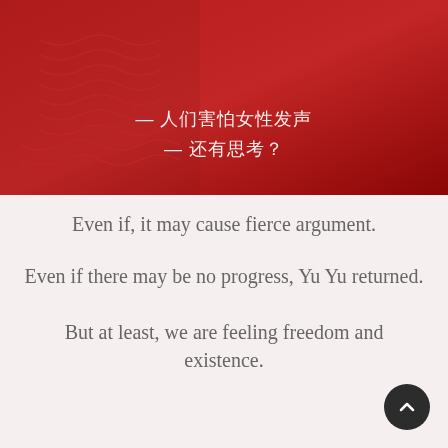[Figure (photo): Screenshot of a video with Chinese text subtitle overlaid. The background shows a person in a red top. Chinese text reads: 人们害怕女性发声 / 还有思考?]
Even if, it may cause fierce argument.
Even if there may be no progress, Yu Yu returned.
But at least, we are feeling freedom and existence.
[Figure (illustration): Illustration of a bathroom scale with feet standing on it, viewed from above. The scale is teal/mint colored with a circular analog dial in the center.]